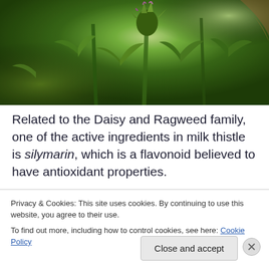[Figure (photo): Close-up photograph of milk thistle plant with spiky green leaves and purple-tipped flower buds against a blurred green background]
Related to the Daisy and Ragweed family, one of the active ingredients in milk thistle is silymarin, which is a flavonoid believed to have antioxidant properties.
Privacy & Cookies: This site uses cookies. By continuing to use this website, you agree to their use.
To find out more, including how to control cookies, see here: Cookie Policy
Close and accept